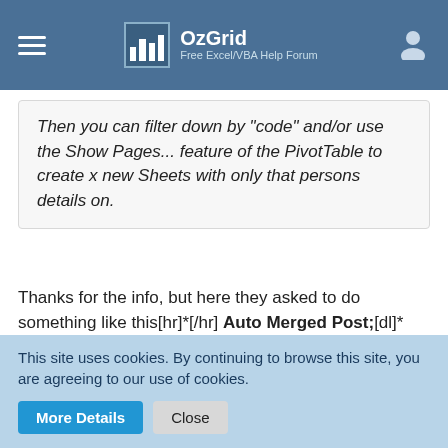OzGrid — Free Excel/VBA Help Forum
Then you can filter down by "code" and/or use the Show Pages... feature of the PivotTable to create x new Sheets with only that persons details on.
Thanks for the info, but here they asked to do something like this[hr]*[/hr] Auto Merged Post;[dl]*[/dl]
Quote from Bill Rockenbach
Assuming your sudent ID is in column A (or any column you want to use) put this code in the data sheet module. When you select the students ID it will copy the students
This site uses cookies. By continuing to browse this site, you are agreeing to our use of cookies.